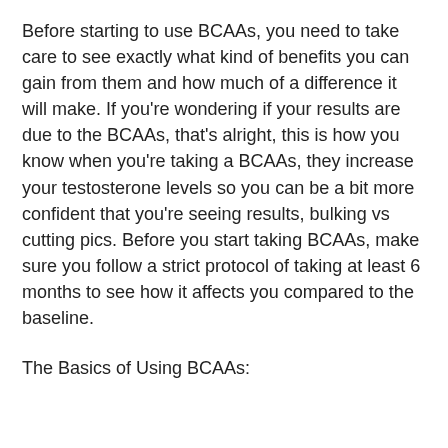Before starting to use BCAAs, you need to take care to see exactly what kind of benefits you can gain from them and how much of a difference it will make. If you're wondering if your results are due to the BCAAs, that's alright, this is how you know when you're taking a BCAAs, they increase your testosterone levels so you can be a bit more confident that you're seeing results, bulking vs cutting pics. Before you start taking BCAAs, make sure you follow a strict protocol of taking at least 6 months to see how it affects you compared to the baseline.
The Basics of Using BCAAs:
By increasing the blood circulation and the amount of oxygen in the blood, NO2 Max stimulates the production of nitric acid...